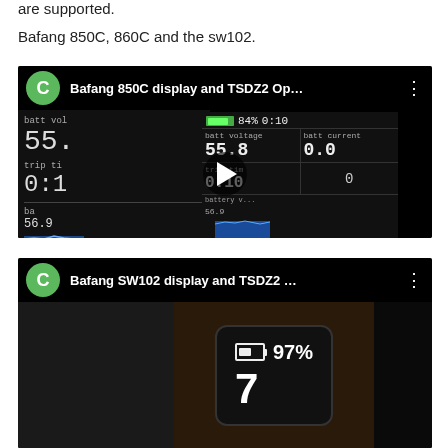are supported.
Bafang 850C, 860C and the sw102.
[Figure (screenshot): YouTube-style video thumbnail for 'Bafang 850C display and TSDZ2 Op...' showing a black e-bike display screen with battery voltage 55.8, batt current 0.0, trip time 0:10, and a blue battery graph. Green avatar with letter C, play button overlay.]
[Figure (screenshot): YouTube-style video thumbnail for 'Bafang SW102 display and TSDZ2...' showing a wrist-worn display showing 97% battery and number 7. Green avatar with letter C.]